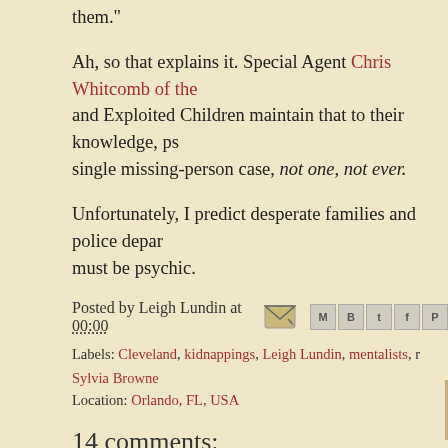them."
Ah, so that explains it. Special Agent Chris Whitcomb of the and Exploited Children maintain that to their knowledge, ps single missing-person case, not one, not ever.
Unfortunately, I predict desperate families and police depar must be psychic.
Posted by Leigh Lundin at 00:00
Labels: Cleveland, kidnappings, Leigh Lundin, mentalists, r Sylvia Browne
Location: Orlando, FL, USA
14 comments:
Janice Law 12 May, 2013 08:40
A good piece. Also, P.T. Barnum was right.